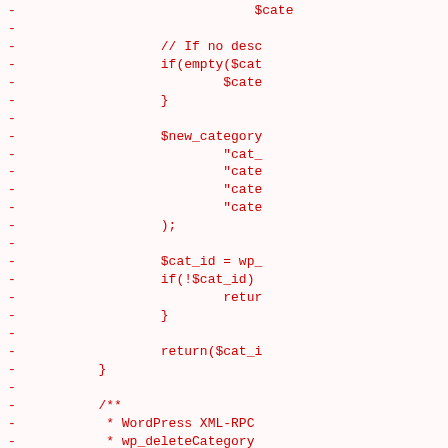[Figure (screenshot): Code diff view showing PHP code lines with red minus signs on the left indicating removed lines. The code shows a function dealing with categories, including $new_category array creation, $cat_id assignment, conditional checks, return statement, and the beginning of a wp_deleteCategory function with JSDoc comment and WordPress XML-RPC reference.]